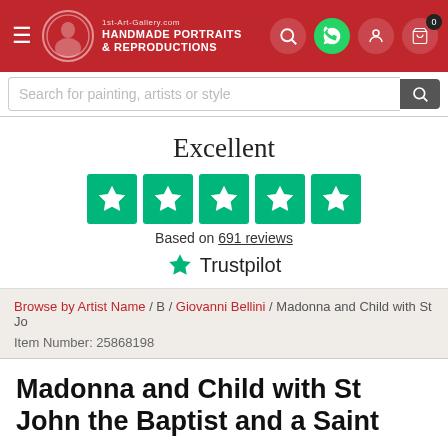[Figure (logo): 1st-Art-Gallery.com header with red background, hamburger menu, logo (portrait silhouette in circle), HANDMADE PORTRAITS & REPRODUCTIONS text, search icon, WhatsApp icon, user icon, cart icon with 0 badge]
Search for painting, artists or style
Excellent
[Figure (infographic): Five green Trustpilot stars in rounded square frames]
Based on 691 reviews
[Figure (logo): Trustpilot logo with green star]
Browse by Artist Name / B / Giovanni Bellini / Madonna and Child with St Jo
Item Number: 25868198
Madonna and Child with St John the Baptist and a Saint
GIOVANNI BELLINI
2065 Reviews